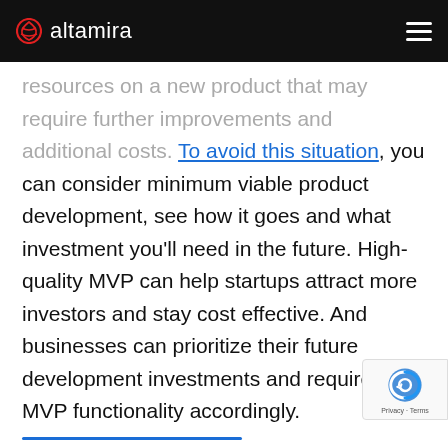altamira
resources on a new product that may require further improvements and additional costs. To avoid this situation, you can consider minimum viable product development, see how it goes and what investment you'll need in the future. High-quality MVP can help startups attract more investors and stay cost effective. And businesses can prioritize their future development investments and required MVP functionality accordingly.